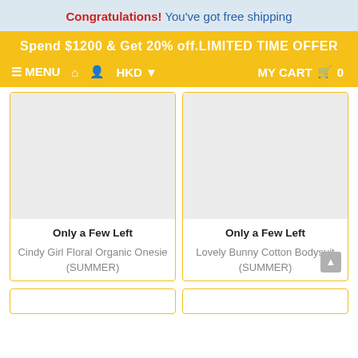Congratulations! You've got free shipping
Spend $1200 & Get 20% off.LIMITED TIME OFFER
≡ MENU  🏠  👤  HKD ▾   MY CART 🛒  0
[Figure (photo): Product image placeholder (light grey box) for Cindy Girl Floral Organic Onesie]
Only a Few Left
Cindy Girl Floral Organic Onesie (SUMMER)
[Figure (photo): Product image placeholder (light grey box) for Lovely Bunny Cotton Bodysuit]
Only a Few Left
Lovely Bunny Cotton Bodysuit (SUMMER)